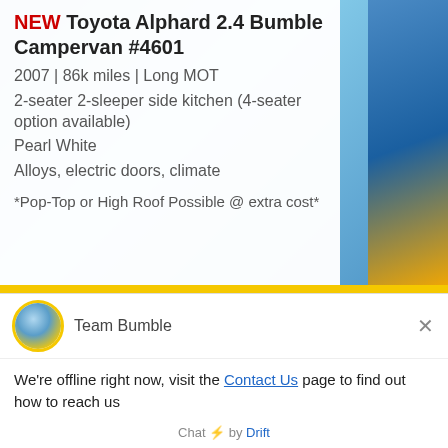NEW Toyota Alphard 2.4 Bumble Campervan #4601
2007 | 86k miles | Long MOT
2-seater 2-sleeper side kitchen (4-seater option available)
Pearl White
Alloys, electric doors, climate
*Pop-Top or High Roof Possible @ extra cost*
[Figure (screenshot): Chat widget from Team Bumble showing offline message with Contact Us link and Email Us button, powered by Drift]
Team Bumble
We're offline right now, visit the Contact Us page to find out how to reach us
Email Us
Chat ⚡ by Drift